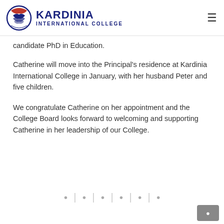Kardinia International College
candidate PhD in Education.
Catherine will move into the Principal's residence at Kardinia International College in January, with her husband Peter and five children.
We congratulate Catherine on her appointment and the College Board looks forward to welcoming and supporting Catherine in her leadership of our College.
[social media icons]